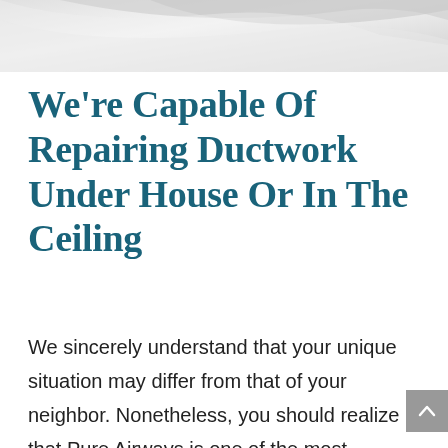[Figure (photo): Decorative header image with gray/white abstract background, partially visible at top of page]
We're Capable Of Repairing Ductwork Under House Or In The Ceiling
We sincerely understand that your unique situation may differ from that of your neighbor. Nonetheless, you should realize that Pure Airways is one of the most versatile HVAC service providers on the planet. We are thoroughly experienced in the mechanics of HVAC and ductwork in